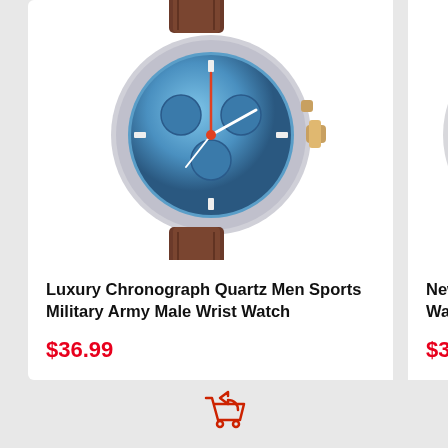[Figure (photo): Close-up product photo of a luxury chronograph quartz men sports military wrist watch with blue dial and brown leather strap]
Luxury Chronograph Quartz Men Sports Military Army Male Wrist Watch
$36.99
[Figure (photo): Partial product photo of a men's leather waterproof sport wrist watch with white dial and brown leather strap, partially cropped on right edge]
New Mens Leather Waterproof Sport A
$33.99
[Figure (illustration): Shopping cart icon with a return/back arrow, rendered in red outline style]